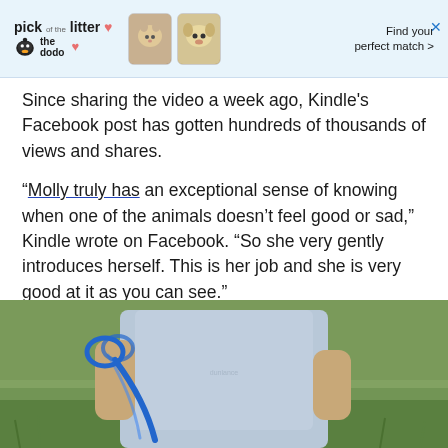[Figure (screenshot): Advertisement banner for 'pick of the litter' by The Dodo with pet photos and text 'Find your perfect match >' with a close X button]
Since sharing the video a week ago, Kindle's Facebook post has gotten hundreds of thousands of views and shares.
“Molly truly has an exceptional sense of knowing when one of the animals doesn’t feel good or sad,” Kindle wrote on Facebook. “So she very gently introduces herself. This is her job and she is very good at it as you can see.”
[Figure (photo): Outdoor photo showing a person in a light blue t-shirt holding a blue rope/lead, standing on green grass]